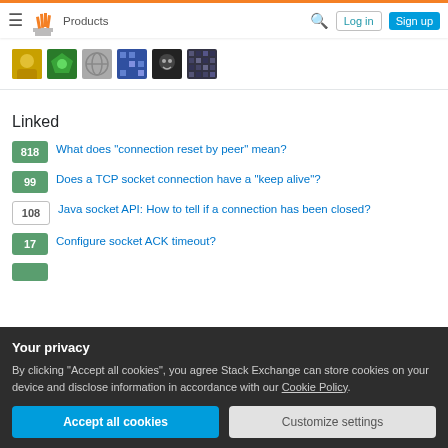≡  Stack Overflow  Products  🔍  Log in  Sign up
[Figure (illustration): Row of 5 user avatar images in a card/section area]
Linked
818  What does "connection reset by peer" mean?
99  Does a TCP socket connection have a "keep alive"?
108  Java socket API: How to tell if a connection has been closed?
17  Configure socket ACK timeout?
Your privacy
By clicking "Accept all cookies", you agree Stack Exchange can store cookies on your device and disclose information in accordance with our Cookie Policy.
[Accept all cookies]  [Customize settings]
socket was gracefully closed by peer.